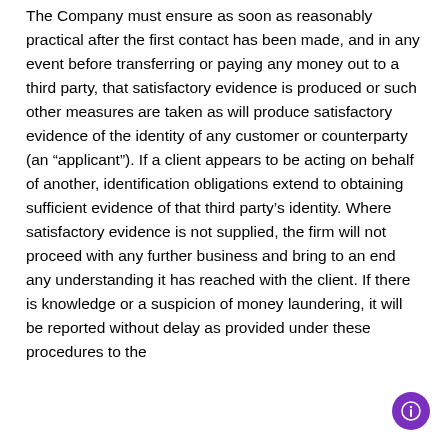The Company must ensure as soon as reasonably practical after the first contact has been made, and in any event before transferring or paying any money out to a third party, that satisfactory evidence is produced or such other measures are taken as will produce satisfactory evidence of the identity of any customer or counterparty (an “applicant”). If a client appears to be acting on behalf of another, identification obligations extend to obtaining sufficient evidence of that third party’s identity. Where satisfactory evidence is not supplied, the firm will not proceed with any further business and bring to an end any understanding it has reached with the client. If there is knowledge or a suspicion of money laundering, it will be reported without delay as provided under these procedures to the